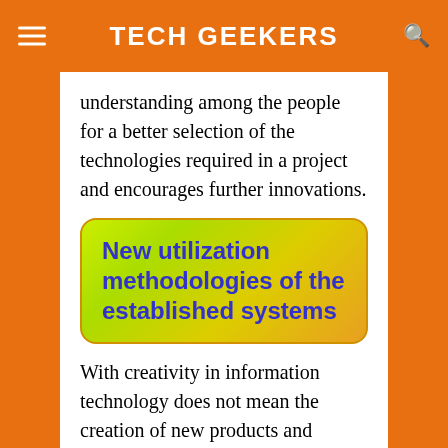TECH GEEKERS
understanding among the people for a better selection of the technologies required in a project and encourages further innovations.
New utilization methodologies of the established systems
With creativity in information technology does not mean the creation of new products and services in the market. It also pushes on new mannerisms of using the old technologies to meet the societal needs from business to recreational activities. Creativity creates a need of understanding how the software